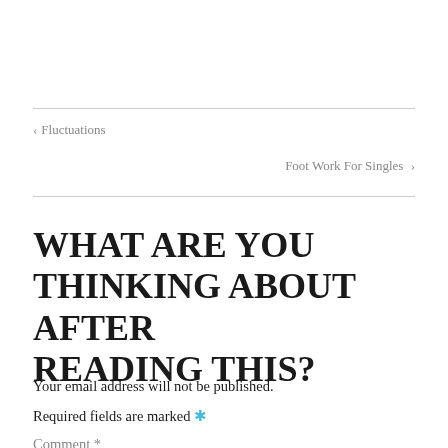< Fluctuations
Foot Work For Singles >
What are you thinking about after reading this?
Your email address will not be published.
Required fields are marked *
Comment *